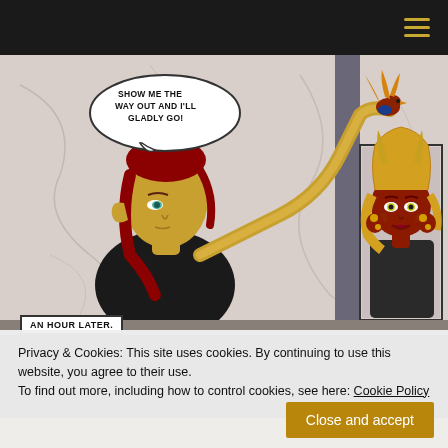hamburger menu icon
[Figure (illustration): A webcomic panel showing two fantasy characters. On the left, a yellow-skinned elf-like character with red hair and pointed ears in a black outfit holds up a serpentine tail/tentacle, on which a small bird perches. A speech bubble reads: 'SHOW ME THE WAY OUT AND I'LL GLADLY GO!' On the right, a close-up panel shows a red-skinned female character with blonde hair and golden horns, wearing a dark outfit, looking surprised or angry. The background is a white marble-patterned wall.]
AN HOUR LATER.
Privacy & Cookies: This site uses cookies. By continuing to use this website, you agree to their use.
To find out more, including how to control cookies, see here: Cookie Policy
Close and accept